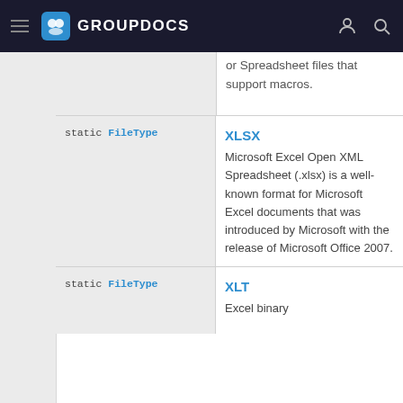GROUPDOCS
or Spreadsheet files that support macros.
|  |  |
| --- | --- |
| static FileType XLSX | XLSX
Microsoft Excel Open XML Spreadsheet (.xlsx) is a well-known format for Microsoft Excel documents that was introduced by Microsoft with the release of Microsoft Office 2007. |
| static FileType XLT | XLT
Excel binary |